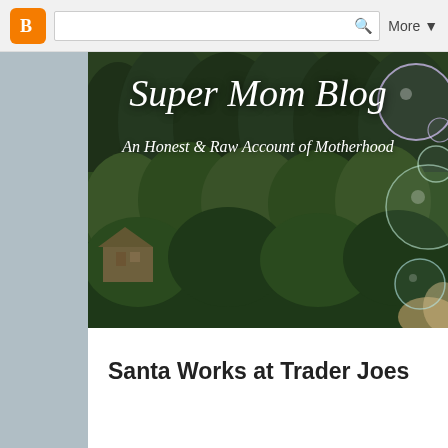[Figure (screenshot): Blogger navigation bar with orange Blogger icon, search box with magnifying glass icon, and 'More' dropdown button on light gray background]
[Figure (photo): Blog header image showing a forested mountain landscape with pine trees, soap bubbles floating on the right side, title text 'Super Mom Blog' in large white italic serif font, subtitle 'An Honest & Raw Account of Motherhood' in white italic serif font]
Santa Works at Trader Joes